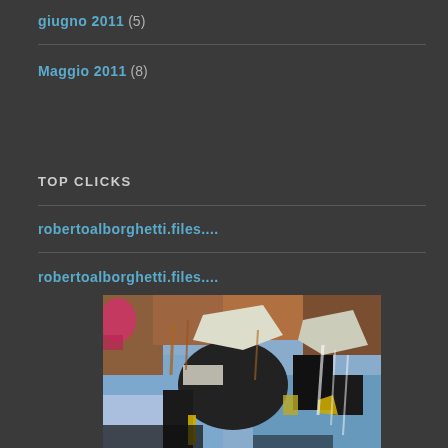giugno 2011 (5)
Maggio 2011 (8)
TOP CLICKS
robertoalborghetti.files....
robertoalborghetti.files....
[Figure (photo): Abstract art photograph showing layers of torn posters and rust with blue, black, brown, white, pink and yellow colors on a weathered surface]